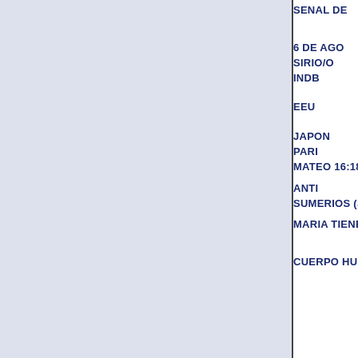SENAL DE
6 DE AGO
SIRIO/O
INDB
EEU
JAPON
PARI
MATEO 16:18 GA
ANTI
SUMERIOS (SUM
MARIA TIENE L
CUERPO HUM
¿QUE M
CUBO/8/RE